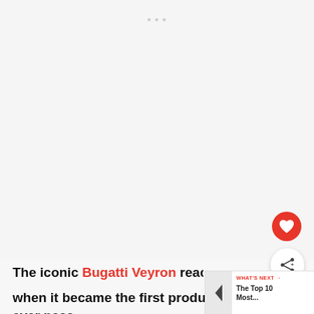[Figure (photo): Large mostly blank/white image area representing a screenshot of a webpage with a faded watermark at the top]
The iconic Bugatti Veyron reached world... when it became the first production car to ever pass